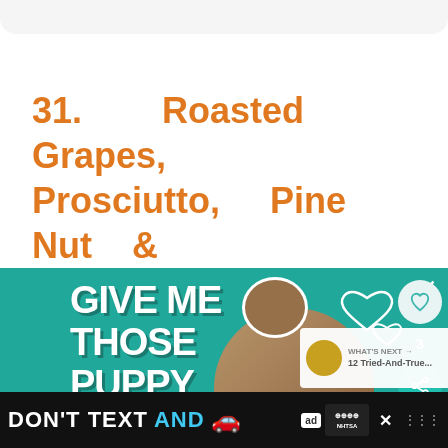31. Roasted Grapes, Prosciutto, Pine Nut & Cheddar
[Figure (photo): Advertisement banner with teal background showing a dog and text 'GIVE ME THOSE PUPPY DOG' in large white bold letters with heart decorations]
[Figure (infographic): Bottom banner advertisement: 'DON'T TEXT AND' with car emoji, ad badge, and NHTSA logo on black background]